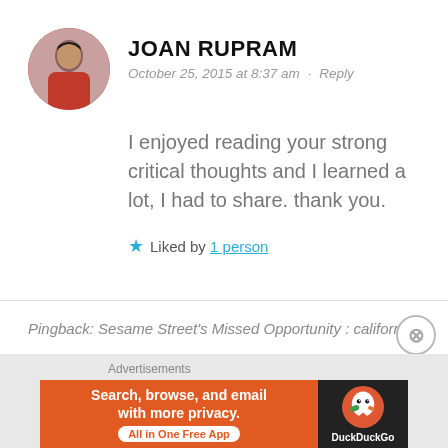JOAN RUPRAM
October 25, 2015 at 8:37 am · Reply
I enjoyed reading your strong critical thoughts and I learned a lot, I had to share. thank you.
★ Liked by 1 person
Pingback: Sesame Street's Missed Opportunity : californica
[Figure (other): DuckDuckGo advertisement banner: Search, browse, and email with more privacy. All in One Free App]
Advertisements